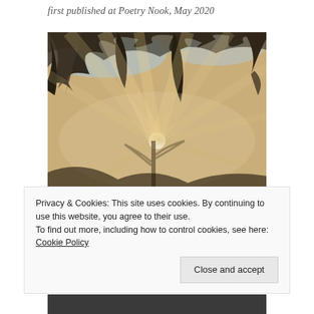first published at Poetry Nook, May 2020
[Figure (photo): Photo looking up through bare and pine trees with sunlight bursting through the center, warm golden rays radiating outward against a pale blue sky]
Privacy & Cookies: This site uses cookies. By continuing to use this website, you agree to their use.
To find out more, including how to control cookies, see here: Cookie Policy
Close and accept